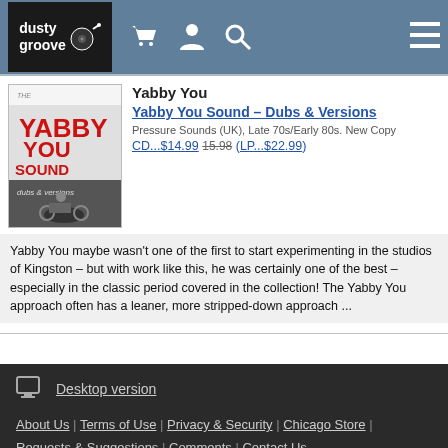dusty groove
[Figure (illustration): Album cover for Yabby You Sound - Dubs & Versions showing a person on a motorcycle with red and black text]
Yabby You
Yabby You Sound – Dubs & Versions
Pressure Sounds (UK), Late 70s/Early 80s. New Copy
CD...$14.99 15.98 (LP...$22.99)
Yabby You maybe wasn't one of the first to start experimenting in the studios of Kingston – but with work like this, he was certainly one of the best – especially in the classic period covered in the collection! The Yabby You approach often has a leaner, more stripped-down approach ...
Desktop version | About Us | Terms of Use | Privacy & Security | Chicago Store | Requests & Suggestions | Comments | Contact Us | © 1996-2022, Dusty Groove 1120 N Ashland Ave, Chicago, IL 60622 USA | dg@dustygroove.com | 773-342-5800 | Dusty Groove is a registered trademark — read more.